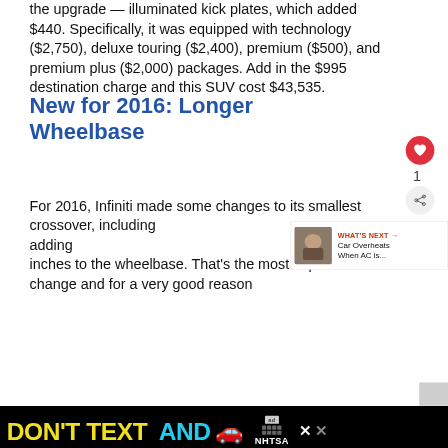the upgrade — illuminated kick plates, which added $440. Specifically, it was equipped with technology ($2,750), deluxe touring ($2,400), premium ($500), and premium plus ($2,000) packages. Add in the $995 destination charge and this SUV cost $43,535.
New for 2016: Longer Wheelbase
For 2016, Infiniti made some changes to its smallest crossover, including adding inches to the wheelbase. That's the most important change and for a very good reason
[Figure (screenshot): What's Next callout box with thumbnail image and text 'Car Overheats When AC is...']
[Figure (infographic): Advertisement banner: DON'T TEXT AND [car emoji] with NHTSA branding on black background]